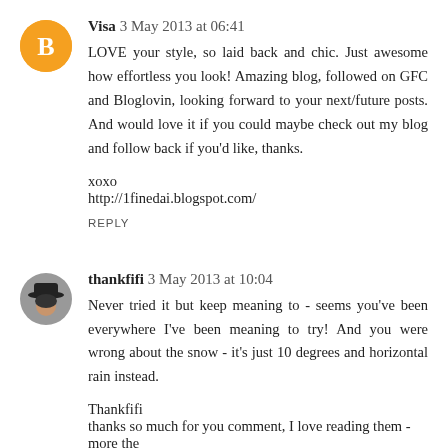Visa  3 May 2013 at 06:41
LOVE your style, so laid back and chic. Just awesome how effortless you look! Amazing blog, followed on GFC and Bloglovin, looking forward to your next/future posts. And would love it if you could maybe check out my blog and follow back if you'd like, thanks.

xoxo
http://1finedai.blogspot.com/
REPLY
thankfifi  3 May 2013 at 10:04
Never tried it but keep meaning to - seems you've been everywhere I've been meaning to try! And you were wrong about the snow - it's just 10 degrees and horizontal rain instead.

Thankfifi
thanks so much for you comment, I love reading them - more the